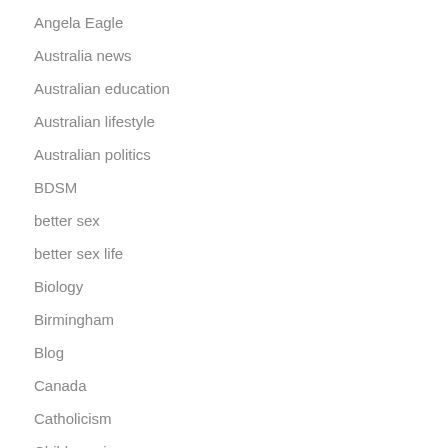Angela Eagle
Australia news
Australian education
Australian lifestyle
Australian politics
BDSM
better sex
better sex life
Biology
Birmingham
Blog
Canada
Catholicism
Child marriage
Children
Children's rights
Clitoral